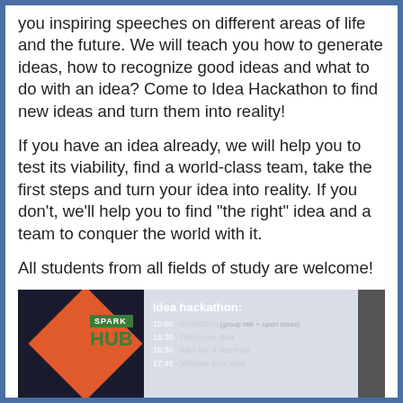you inspiring speeches on different areas of life and the future. We will teach you how to generate ideas, how to recognize good ideas and what to do with an idea? Come to Idea Hackathon to find new ideas and turn them into reality!
If you have an idea already, we will help you to test its viability, find a world-class team, take the first steps and turn your idea into reality. If you don't, we'll help you to find "the right" idea and a team to conquer the world with it.
All students from all fields of study are welcome!
[Figure (photo): Photo of a presentation screen showing the Spark Hub logo (green box with 'SPARK' text and 'HUB' in large green letters), with a red/orange diamond shape on the left, and text on the right showing 'Idea hackathon:' with schedule items: 15:00 - Inspiration (group talk + open ideas), 15:30 - Pitch your idea, 16:30 - Idea fair & team-up, 17:45 - Validate your idea]